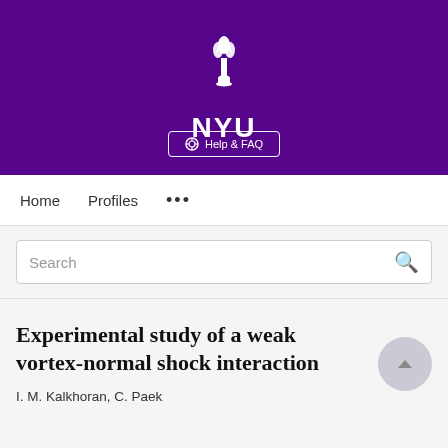[Figure (logo): NYU (New York University) logo with torch icon on purple background, with Help & FAQ button]
Home   Profiles   ...
Search
Experimental study of a weak vortex-normal shock interaction
I. M. Kalkhoran, C. Paek